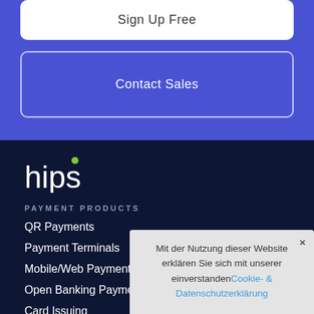Sign Up Free
Contact Sales
[Figure (logo): Hips logo in white text with green dot above the letter i]
PAYMENT PRODUCTS
QR Payments
Payment Terminals
Mobile/Web Payments
Open Banking Payments
Card Issuing
Mit der Nutzung dieser Website erklären Sie sich mit unserer einverstanden Cookie- & Datenschutzerklärung